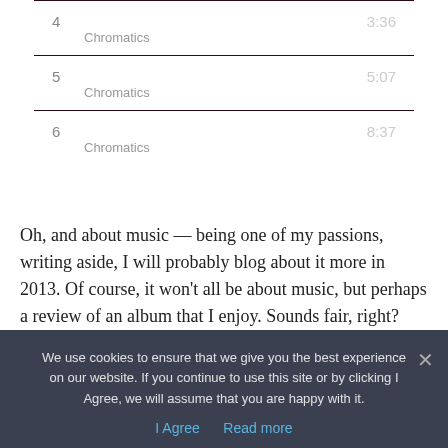| # | Title / Artist | Duration |
| --- | --- | --- |
| 4 | The Page
Chromatics | 3:36 |
| 5 | Lady
Chromatics | 5:07 |
| 6 | These Streets Will Never Lo...
Chromatics | 8:37 |
Oh, and about music — being one of my passions, writing aside, I will probably blog about it more in 2013. Of course, it won't all be about music, but perhaps a review of an album that I enjoy. Sounds fair, right?
We use cookies to ensure that we give you the best experience on our website. If you continue to use this site or by clicking I Agree, we will assume that you are happy with it.